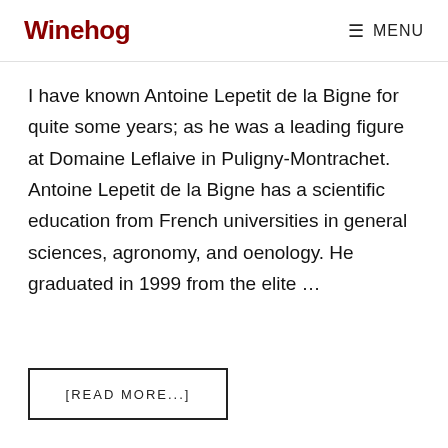Winehog  MENU
I have known Antoine Lepetit de la Bigne for quite some years; as he was a leading figure at Domaine Leflaive in Puligny-Montrachet. Antoine Lepetit de la Bigne has a scientific education from French universities in general sciences, agronomy, and oenology. He graduated in 1999 from the elite ...
[READ MORE...]